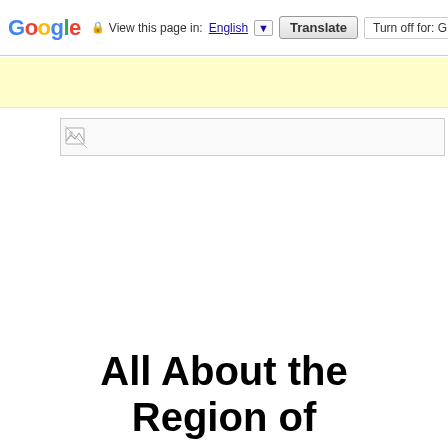Google  View this page in: English [▼]  Translate  Turn off for: G
[Figure (other): Yellow advertisement banner area]
[Figure (other): Broken image placeholder icon with grey border bar]
All About the Region of